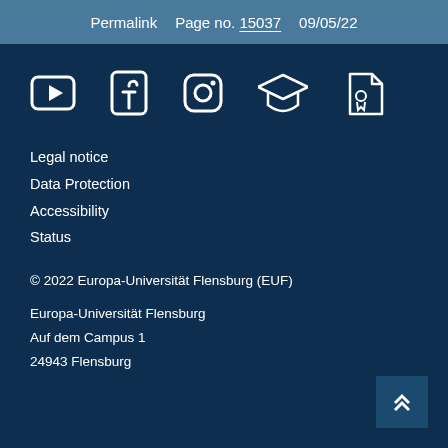Permalink   Page no. 15037   09/05/22
[Figure (illustration): Row of 5 social media / platform icons: YouTube, Facebook, Instagram, graduation cap (academic), certificate/document icon — all white on dark blue background]
Legal notice
Data Protection
Accessibility
Status
© 2022 Europa-Universität Flensburg (EUF)
Europa-Universität Flensburg
Auf dem Campus 1
24943 Flensburg